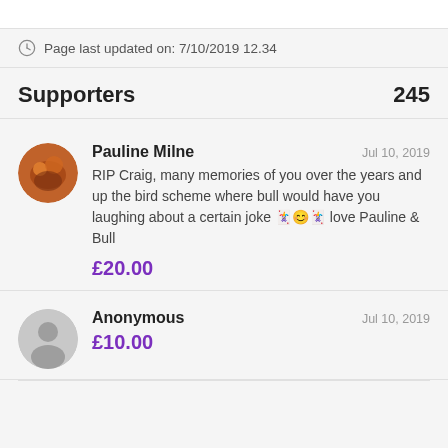Page last updated on: 7/10/2019 12.34
Supporters 245
Pauline Milne - Jul 10, 2019 - RIP Craig, many memories of you over the years and up the bird scheme where bull would have you laughing about a certain joke 🃏😊🃏 love Pauline & Bull - £20.00
Anonymous - Jul 10, 2019 - £10.00